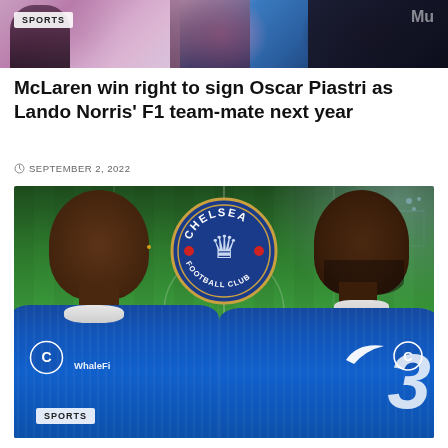[Figure (photo): Top banner image showing sports jerseys with SPORTS badge overlay, pink/blue colors]
McLaren win right to sign Oscar Piastri as Lando Norris' F1 team-mate next year
SEPTEMBER 2, 2022
[Figure (photo): Two Chelsea FC players in blue Chelsea jerseys standing in front of a Chelsea Football Club badge/logo on a green football pitch background. SPORTS badge in bottom left corner.]